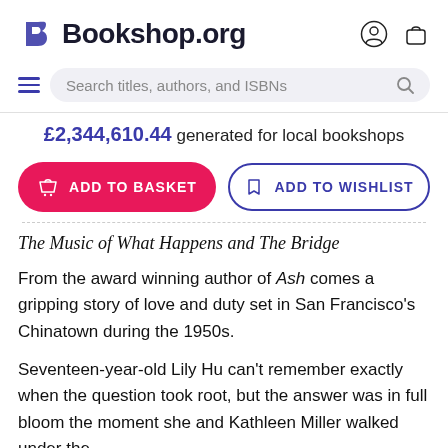[Figure (logo): Bookshop.org logo with stylized B icon and wordmark, plus user account and basket icons]
[Figure (screenshot): Search bar with hamburger menu, placeholder text 'Search titles, authors, and ISBNs', and search icon]
£2,344,610.44 generated for local bookshops
[Figure (screenshot): Two buttons: red 'ADD TO BASKET' button and outlined 'ADD TO WISHLIST' button]
The Music of What Happens and The Bridge
From the award winning author of Ash comes a gripping story of love and duty set in San Francisco's Chinatown during the 1950s.
Seventeen-year-old Lily Hu can't remember exactly when the question took root, but the answer was in full bloom the moment she and Kathleen Miller walked under the